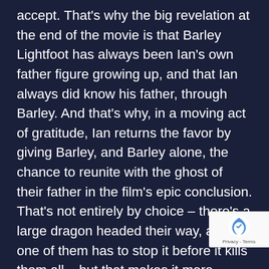accept. That's why the big revelation at the end of the movie is that Barley Lightfoot has always been Ian's own father figure growing up, and that Ian always did know his father, through Barley. And that's why, in a moving act of gratitude, Ian returns the favor by giving Barley, and Barley alone, the chance to reunite with the ghost of their father in the film's epic conclusion. That's not entirely by choice – there's a large dragon headed their way, and one of them has to stop it before it kills them all – but that makes it more powerful: because by that point, Ian's character arc has concluded. He's already figured out what and who the story is all about. But Barley still hasn't: in a noble act of self-sacrifice, he offers to go hold off the dragon and give Ian the chance to meet their dad. But Ian stops him, telling him that now, Barley deserves what Ian always had: a chance to share his life, even for a moment, with his own father figure. Suddenly, Barley Lightfoot is the true heart, soul
[Figure (logo): reCAPTCHA badge with logo and Privacy - Terms text]